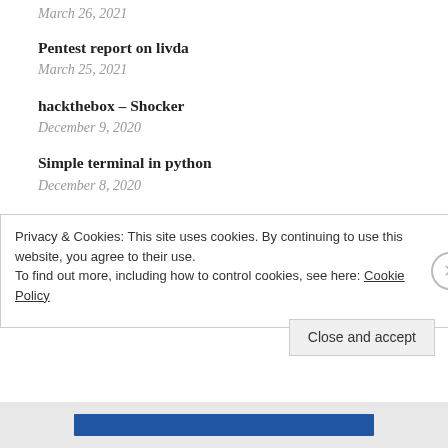March 26, 2021
Pentest report on livda
March 25, 2021
hackthebox – Shocker
December 9, 2020
Simple terminal in python
December 8, 2020
linux – Grab the ipv4 address from interface
December 8, 2020
service ports discover with nmap
Privacy & Cookies: This site uses cookies. By continuing to use this website, you agree to their use.
To find out more, including how to control cookies, see here: Cookie Policy
Close and accept